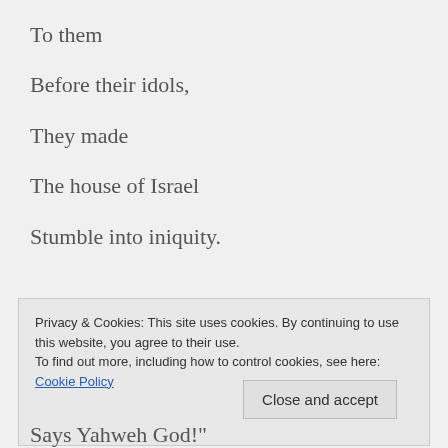To them
Before their idols,
They made
The house of Israel
Stumble into iniquity.
Privacy & Cookies: This site uses cookies. By continuing to use this website, you agree to their use.
To find out more, including how to control cookies, see here: Cookie Policy
Close and accept
Says Yahweh God!"